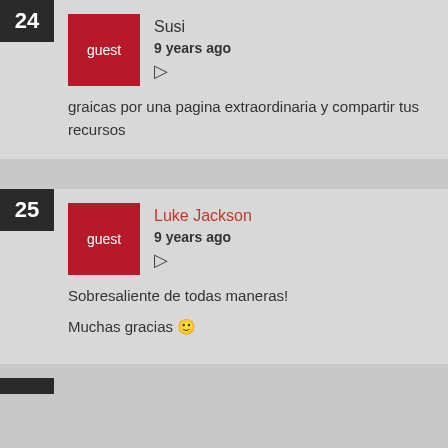24 Susi 9 years ago
graicas por una pagina extraordinaria y compartir tus recursos
25 Luke Jackson 9 years ago
Sobresaliente de todas maneras!
Muchas gracias 🙂